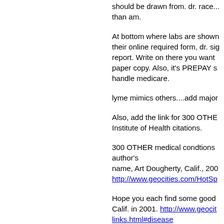should be drawn from. dr. race... than am.
At bottom where labs are shown their online required form, dr. sig report. Write on there you want paper copy. Also, it's PREPAY s handle medicare.
lyme mimics others....add major
Also, add the link for 300 OTHE Institute of Health citations.
300 OTHER medical condtions author's name, Art Dougherty, Calif., 200 http://www.geocities.com/HotSp
Hope you each find some good Calif. in 2001. http://www.geocit links.html#disease
You might show Treepatrol's NE combination links together as he
I'd underline lyme literate MD.
BOH, spell this out the 1st time paragraph...ok.
I'd also show the name of the n